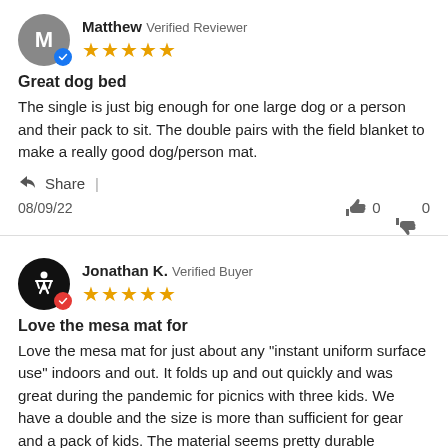Matthew Verified Reviewer ★★★★★
Great dog bed
The single is just big enough for one large dog or a person and their pack to sit. The double pairs with the field blanket to make a really good dog/person mat.
Share |
08/09/22   👍 0  👎 0
Jonathan K. Verified Buyer ★★★★★
Love the mesa mat for
Love the mesa mat for just about any "instant uniform surface use" indoors and out. It folds up and out quickly and was great during the pandemic for picnics with three kids. We have a double and the size is more than sufficient for gear and a pack of kids. The material seems pretty durable although not really putting thru the ringer outside the o...Read More